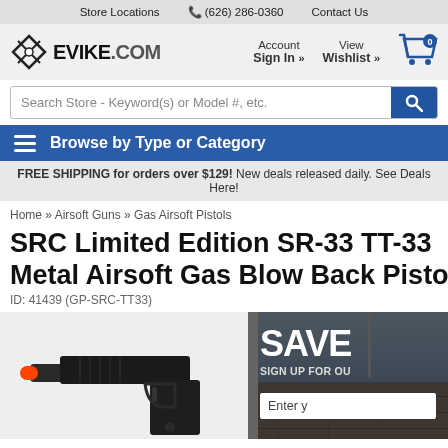Store Locations  (626) 286-0360  Contact Us
[Figure (logo): Evike.com logo with crossed airsoft guns icon]
Account Sign In »   View Wishlist »
Search Store - Keyword(s) or Model #, etc.
Browse by Type or Category
FREE SHIPPING for orders over $129! New deals released daily. See Deals Here!
Home » Airsoft Guns » Gas Airsoft Pistols
SRC Limited Edition SR-33 TT-33 Metal Airsoft Gas Blow Back Pistol
ID: 41439 (GP-SRC-TT33)
[Figure (photo): Airsoft gas blow back pistol with orange tip muzzle, shown at bottom of page. Background shows a brick wall scene with SAVE / SIGN UP FOR OUR newsletter overlay popup and Enter your email field.]